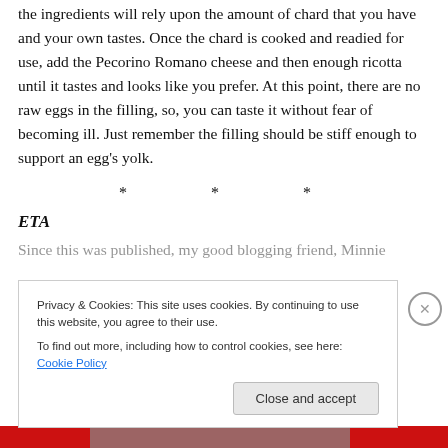the ingredients will rely upon the amount of chard that you have and your own tastes. Once the chard is cooked and readied for use, add the Pecorino Romano cheese and then enough ricotta until it tastes and looks like you prefer. At this point, there are no raw eggs in the filling, so, you can taste it without fear of becoming ill. Just remember the filling should be stiff enough to support an egg's yolk.
* * *
ETA
Since this was published, my good blogging friend, Minnie
Privacy & Cookies: This site uses cookies. By continuing to use this website, you agree to their use.
To find out more, including how to control cookies, see here: Cookie Policy
Close and accept